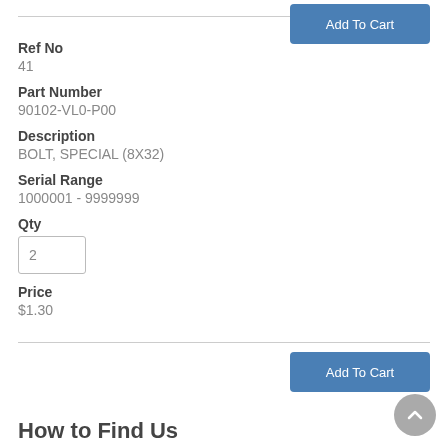Add To Cart
Ref No
41
Part Number
90102-VL0-P00
Description
BOLT, SPECIAL (8X32)
Serial Range
1000001 - 9999999
Qty
2
Price
$1.30
Add To Cart
How to Find Us